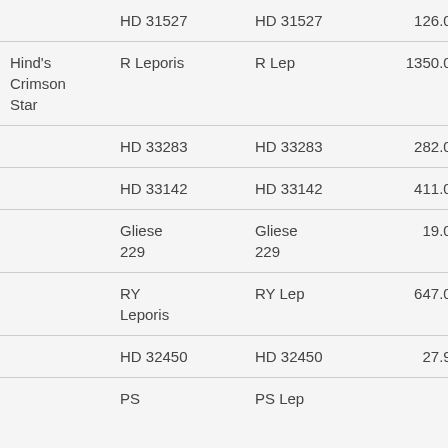|  | HD 31527 | HD 31527 | 126.00 | 7.48 |
| Hind's Crimson Star | R Leporis | R Lep | 1350.00 | 7.71 |
|  | HD 33283 | HD 33283 | 282.00 | 8.05 |
|  | HD 33142 | HD 33142 | 411.00 | 8.13 |
|  | Gliese 229 | Gliese 229 | 19.00 | 8.14 |
|  | RY Leporis | RY Lep | 647.00 | 8.25 |
|  | HD 32450 | HD 32450 | 27.96 | 8.32 |
|  | PS | PS Lep |  | 8.88 |